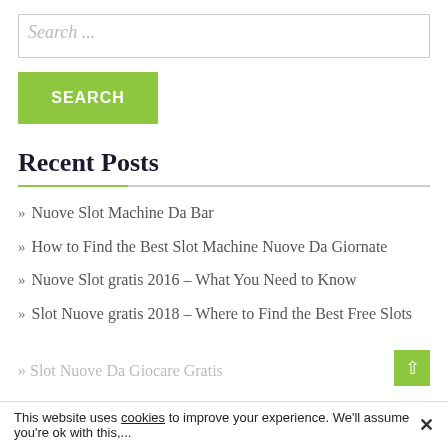Search ...
SEARCH
Recent Posts
» Nuove Slot Machine Da Bar
» How to Find the Best Slot Machine Nuove Da Giornate
» Nuove Slot gratis 2016 – What You Need to Know
» Slot Nuove gratis 2018 – Where to Find the Best Free Slots
» Slot Nuove Da Giocare Gratis
This website uses cookies to improve your experience. We'll assume you're ok with this,...